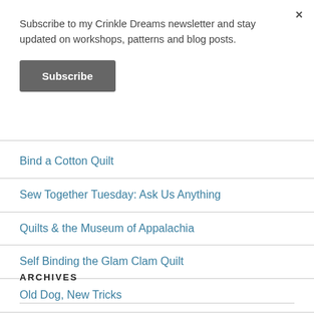Subscribe to my Crinkle Dreams newsletter and stay updated on workshops, patterns and blog posts.
Subscribe
Bind a Cotton Quilt
Sew Together Tuesday: Ask Us Anything
Quilts & the Museum of Appalachia
Self Binding the Glam Clam Quilt
Old Dog, New Tricks
ARCHIVES